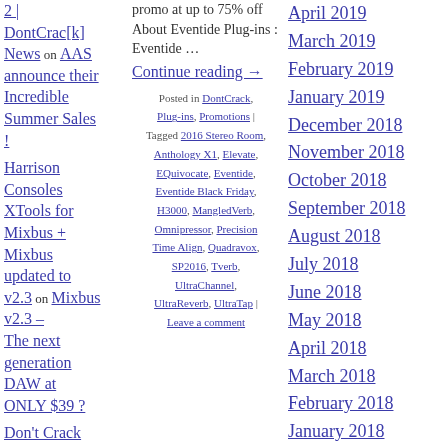2 | DontCrac[k] News on AAS announce their Incredible Summer Sales !
Harrison Consoles XTools for Mixbus + Mixbus updated to v2.3 on Mixbus v2.3 – The next generation DAW at ONLY $39 ?
Don't Crack Offers FREE P&M Plugin - Everything
promo at up to 75% off About Eventide Plug-ins : Eventide …
Continue reading →
Posted in DontCrack, Plug-ins, Promotions | Tagged 2016 Stereo Room, Anthology X1, Elevate, EQuivocate, Eventide, Eventide Black Friday, H3000, MangledVerb, Omnipressor, Precision Time Align, Quadravox, SP2016, Tverb, UltraChannel, UltraReverb, UltraTap | Leave a comment
April 2019
March 2019
February 2019
January 2019
December 2018
November 2018
October 2018
September 2018
August 2018
July 2018
June 2018
May 2018
April 2018
March 2018
February 2018
January 2018
December 2017
November 2017
October 2017